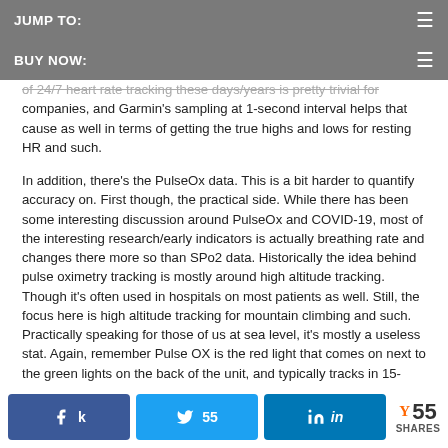JUMP TO:
BUY NOW:
of 24/7 heart rate tracking these days/years is pretty trivial for companies, and Garmin's sampling at 1-second interval helps that cause as well in terms of getting the true highs and lows for resting HR and such.
In addition, there's the PulseOx data. This is a bit harder to quantify accuracy on. First though, the practical side. While there has been some interesting discussion around PulseOx and COVID-19, most of the interesting research/early indicators is actually breathing rate and changes there more so than SPo2 data. Historically the idea behind pulse oximetry tracking is mostly around high altitude tracking. Though it's often used in hospitals on most patients as well. Still, the focus here is high altitude tracking for mountain climbing and such. Practically speaking for those of us at sea level, it's mostly a useless stat. Again, remember Pulse OX is the red light that comes on next to the green lights on the back of the unit, and typically tracks in 15-minute increments if enabled, and is overlaid against your altitude. In my case, that includes 3-4 days in Switzerland last week where you see the data plotted against my altitude:
Share buttons: Facebook, Twitter 55, LinkedIn, Y 55 SHARES